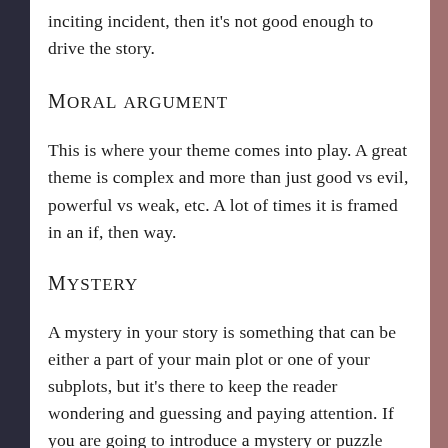inciting incident, then it's not good enough to drive the story.
Moral argument
This is where your theme comes into play. A great theme is complex and more than just good vs evil, powerful vs weak, etc. A lot of times it is framed in an if, then way.
Mystery
A mystery in your story is something that can be either a part of your main plot or one of your subplots, but it's there to keep the reader wondering and guessing and paying attention. If you are going to introduce a mystery or puzzle